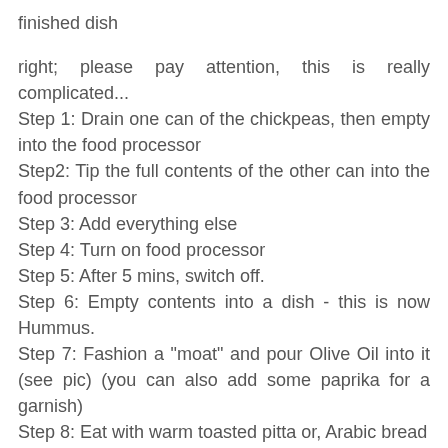finished dish
right; please pay attention, this is really complicated...
Step 1: Drain one can of the chickpeas, then empty into the food processor
Step2: Tip the full contents of the other can into the food processor
Step 3: Add everything else
Step 4: Turn on food processor
Step 5: After 5 mins, switch off.
Step 6: Empty contents into a dish - this is now Hummus.
Step 7: Fashion a "moat" and pour Olive Oil into it (see pic) (you can also add some paprika for a garnish)
Step 8: Eat with warm toasted pitta or, Arabic bread
Ta Da! really hope you like it :-)
Final note, this recipe, in my opinion, tends to